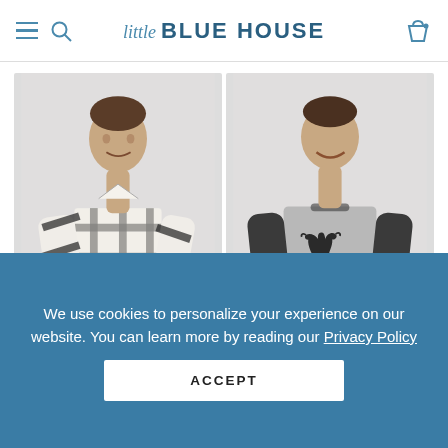little BLUE HOUSE
[Figure (photo): Man wearing a black and white buffalo plaid flannel shirt, standing against a light grey background]
[Figure (photo): Man wearing a grey raglan long-sleeve shirt with a dark moose graphic on the chest, with dark grey sleeves, against a light grey background]
We use cookies to personalize your experience on our website. You can learn more by reading our Privacy Policy
ACCEPT